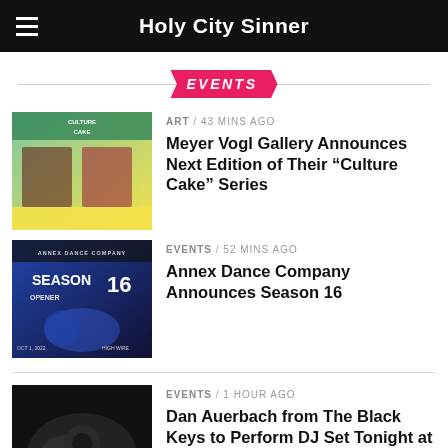Holy City Sinner
EVENTS
[Figure (photo): Culture Cake event promotional image with two people]
ART / 43 mins ago
Meyer Vogl Gallery Announces Next Edition of Their “Culture Cake” Series
[Figure (photo): Annex Dance Company Season 16 Opener promotional image]
EVENTS / 52 mins ago
Annex Dance Company Announces Season 16
[Figure (photo): Black and white photo of DJ performing]
EVENTS / 1 hour ago
Dan Auerbach from The Black Keys to Perform DJ Set Tonight at The Royal American